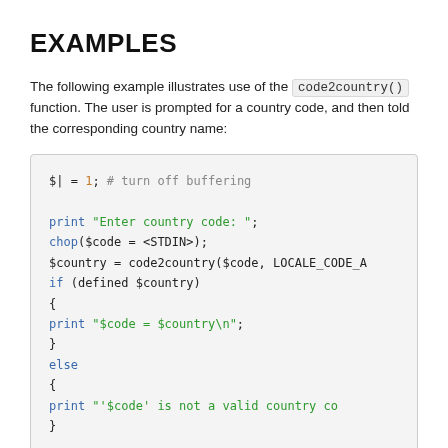EXAMPLES
The following example illustrates use of the code2country() function. The user is prompted for a country code, and then told the corresponding country name:
[Figure (screenshot): Perl code block showing use of code2country() function with buffering off, reading from STDIN, and printing the country name or an error message.]